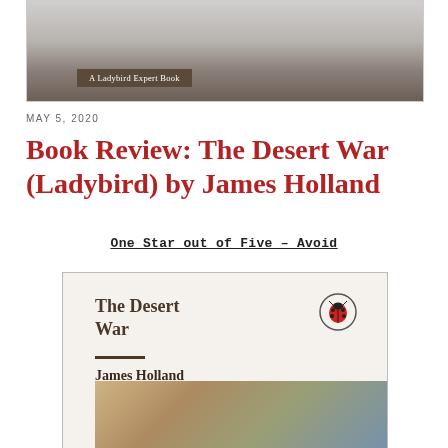[Figure (photo): Top portion of a book cover showing 'A Ladybird Expert Book' label on a dark brown background with faint imagery]
MAY 5, 2020
Book Review: The Desert War (Ladybird) by James Holland
One Star out of Five – Avoid
[Figure (photo): Front cover of 'The Desert War' by James Holland, a Ladybird Expert Book. Shows the title in bold brown serif font, a ladybird logo in a circle, the author's name James Holland, a horizontal divider line, and an illustration of WWII aircraft and equipment at the bottom.]